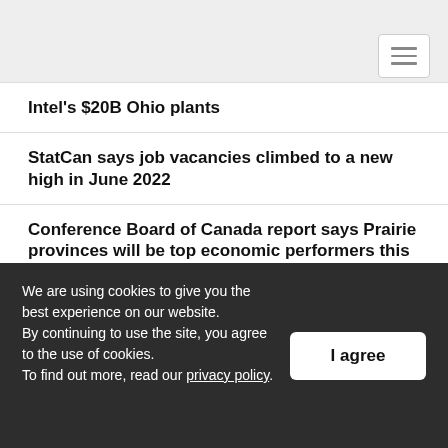Navigation menu
Intel's $20B Ohio plants
StatCan says job vacancies climbed to a new high in June 2022
Conference Board of Canada report says Prairie provinces will be top economic performers this year
ABB and Hydrogen Optimized expand partnership, announce strategic investment
We are using cookies to give you the best experience on our website.
By continuing to use the site, you agree to the use of cookies.
To find out more, read our privacy policy.